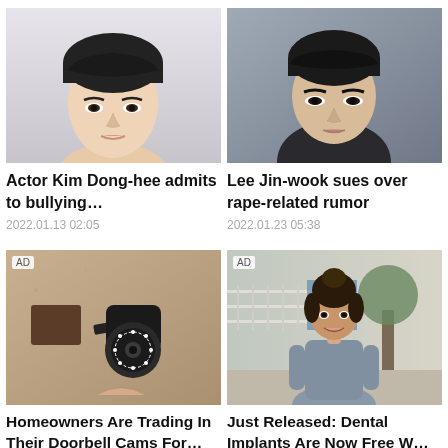[Figure (photo): Close-up portrait of young Asian male actor Kim Dong-hee with dark hair and fair skin against light background]
Actor Kim Dong-hee admits to bullying…
2022.01.13 02:05
[Figure (photo): Close-up photo of Korean actor Lee Jin-wook with dark hair wearing a dark jacket, serious expression]
Lee Jin-wook sues over rape-related rumor
2022.01.23 05:38
[Figure (photo): AD - Security camera mounted on a sandy/stucco wall, white PTZ camera with ring of LED lights]
Homeowners Are Trading In Their Doorbell Cams For…
[Figure (photo): AD - Woman with dark hair in a bun wearing a gray fitted top, standing on a sidewalk with trees in background]
Just Released: Dental Implants Are Now Free W…